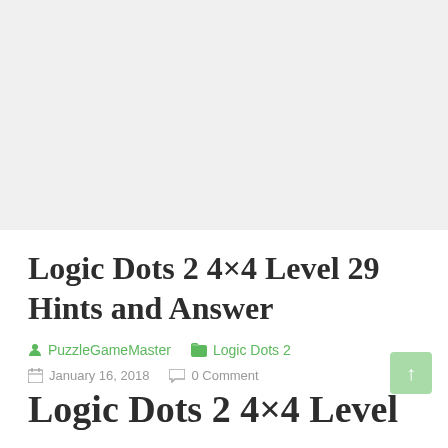[Figure (other): Gray advertisement/banner placeholder area at top of page]
Logic Dots 2 4×4 Level 29 Hints and Answer
PuzzleGameMaster   Logic Dots 2
January 16, 2018   0 Comment
Logic Dots 2 4×4 Level 29